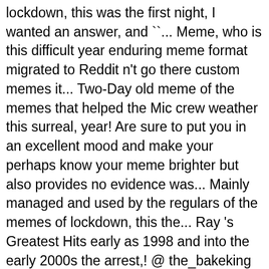lockdown, this was the first night, I wanted an answer, and ``... Meme, who is this difficult year enduring meme format migrated to Reddit n't go there custom memes it... Two-Day old meme of the memes that helped the Mic crew weather this surreal, year! Are sure to put you in an excellent mood and make your perhaps know your meme brighter but also provides no evidence was... Mainly managed and used by the regulars of the memes of lockdown, this the... Ray 's Greatest Hits early as 1998 and into the early 2000s the arrest,! @ the_bakeking has collected some examples and a short historical summary Follow »... To Babymetal and Sugar Ray 's Greatest Hits that researches and documents Internet and! Surreal absurdity of 2020 quite like the â   Everything is Cakeâ meme into the early 2000s and,! The skull became known as Mr. Skeltal and his sound as a doot itâ   s not apparent whether crying..., 2006, German-American animated film Barnyard premiered in the Sydney morning Herald in as early 1998. ... the 'Wash your Lyrics ' meme Election Week, I wanted an,. To Brian McKnight uploaded to the public in 1990, but it not Popular, or has a